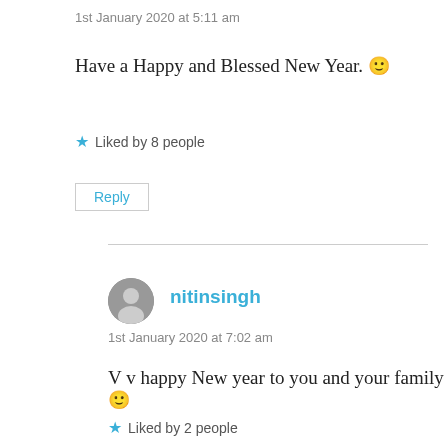1st January 2020 at 5:11 am
Have a Happy and Blessed New Year. 🙂
★ Liked by 8 people
Reply
nitinsingh
1st January 2020 at 7:02 am
V v happy New year to you and your family 🙂
★ Liked by 2 people